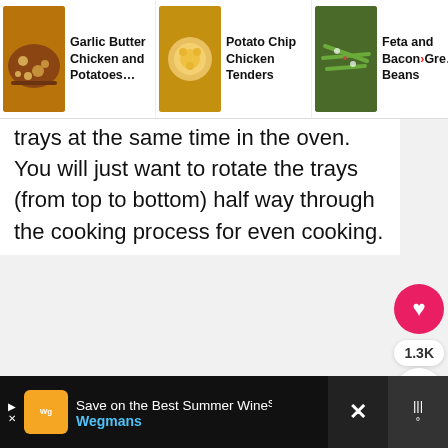Garlic Butter Chicken and Potatoes... | Potato Chip Chicken Tenders | Feta and Bacon Green Beans
trays at the same time in the oven. You will just want to rotate the trays (from top to bottom) half way through the cooking process for even cooking.
[Figure (screenshot): DON'T TEXT AND [car emoji] ad banner from NHTSA with close button]
[Figure (screenshot): Save on the Best Summer Wines: Wegmans bottom ad banner with play button and close button]